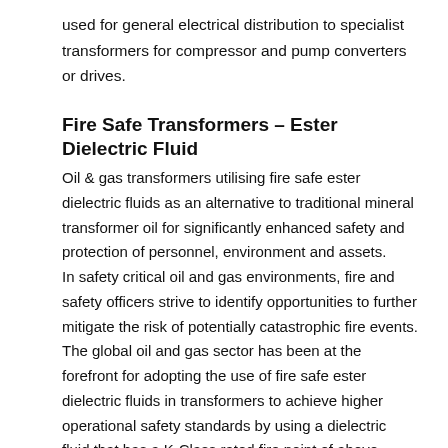used for general electrical distribution to specialist transformers for compressor and pump converters or drives.
Fire Safe Transformers – Ester Dielectric Fluid
Oil & gas transformers utilising fire safe ester dielectric fluids as an alternative to traditional mineral transformer oil for significantly enhanced safety and protection of personnel, environment and assets.
In safety critical oil and gas environments, fire and safety officers strive to identify opportunities to further mitigate the risk of potentially catastrophic fire events. The global oil and gas sector has been at the forefront for adopting the use of fire safe ester dielectric fluids in transformers to achieve higher operational safety standards by using a dielectric fluid that has a K-Class rated fire point of above 300°C. Ester dielectric fluids are extensively proven in transformer applications and are Fire Safe K-Class Rated, Fully Bio-degradable, Sustainable and Pose no threat to the environment.
We also offer traditional mineral oil dielectric fluids for oil and gas